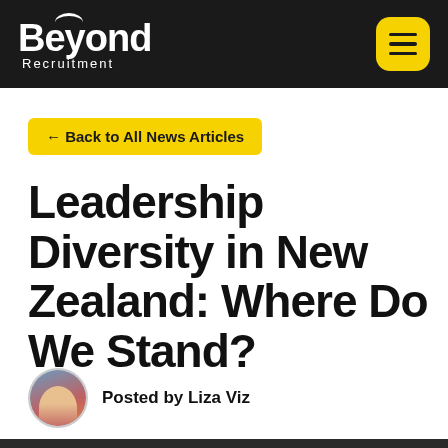Beyond Recruitment
← Back to All News Articles
Leadership Diversity in New Zealand: Where Do We Stand?
Posted by Liza Viz